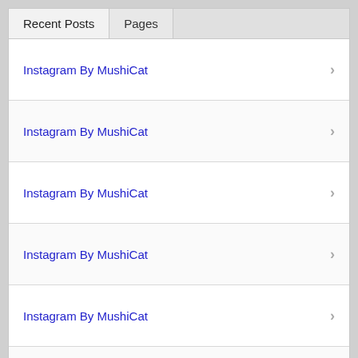Recent Posts
Pages
Instagram By MushiCat
Instagram By MushiCat
Instagram By MushiCat
Instagram By MushiCat
Instagram By MushiCat
Instagram By MushiCat
Instagram By MushiCat – #2020
Instagram By MushiCat – 25 December 2019 (8:22 PM)
Instagram By MushiCat – Christmas 2019…